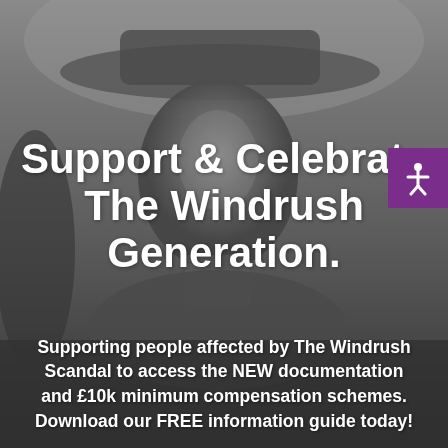[Figure (photo): Black and white photograph of a man wearing a wide-brimmed hat and suit, looking at the camera. The image is used as a full-page background with a dark overlay.]
Support & Celebrate The Windrush Generation.
Supporting people affected by The Windrush Scandal to access the NEW documentation and £10k minimum compensation schemes. Download our FREE information guide today!